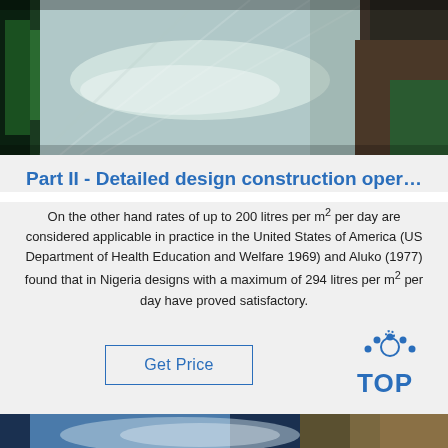[Figure (photo): Industrial metal sheet/coil material, silver/steel colored, with green packaging material on sides and a person visible on the right edge]
Part II - Detailed design construction oper…
On the other hand rates of up to 200 litres per m² per day are considered applicable in practice in the United States of America (US Department of Health Education and Welfare 1969) and Aluko (1977) found that in Nigeria designs with a maximum of 294 litres per m² per day have proved satisfactory.
[Figure (logo): TOP logo with blue dots arranged in arc above the word TOP in blue text]
[Figure (photo): Partial view of another industrial image at the bottom of the page]